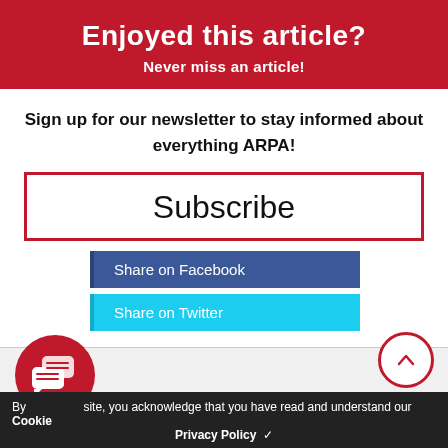Enjoyed this article?
Never miss an article!
Sign up for our newsletter to stay informed about everything ARPA!
Subscribe
Share on Facebook
Share on Twitter
[Figure (illustration): Red circular icon with two speech bubbles (chat icon)]
[Figure (illustration): White circle with red border and upward arrow (scroll to top button)]
By using this site, you acknowledge that you have read and understand our Cookie
Privacy Policy  ✓